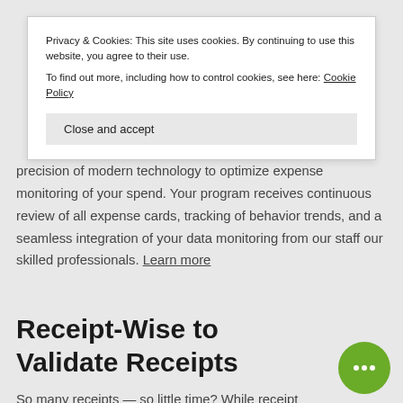precision of modern technology to optimize expense monitoring of your spend. Your program receives continuous review of all expense cards, tracking of behavior trends, and a seamless integration of your data monitoring from our staff our skilled professionals. Learn more
Privacy & Cookies: This site uses cookies. By continuing to use this website, you agree to their use. To find out more, including how to control cookies, see here: Cookie Policy
Receipt-Wise to Validate Receipts
So many receipts — so little time? While receipt